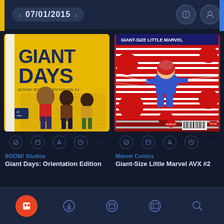07/01/2015
[Figure (screenshot): Comic book cover: Giant Days: Orientation Edition by BOOM! Studios. Yellow notebook-paper background with illustrated characters.]
[Figure (screenshot): Comic book cover: Giant-Size Little Marvel AVX #2 by Marvel Comics. Red and white dynamic action cover with superhero character.]
BOOM! Studios
Giant Days: Orientation Edition
Marvel Comics
Giant-Size Little Marvel AVX #2
Bottom navigation bar with icons: home, download, library, reading, search